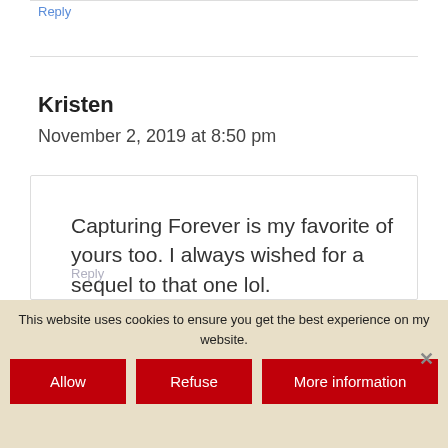Reply
Kristen
November 2, 2019 at 8:50 pm
Capturing Forever is my favorite of yours too. I always wished for a sequel to that one lol.
Reply
This website uses cookies to ensure you get the best experience on my website.
Allow
Refuse
More information